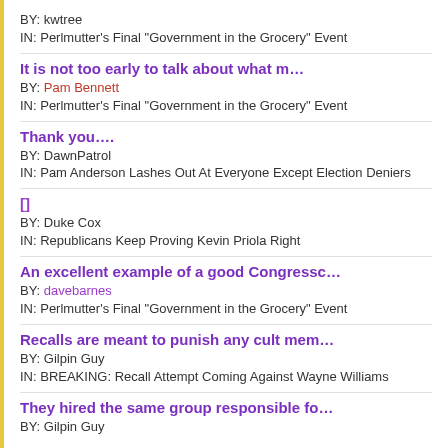BY: kwtree
IN: Perlmutter’s Final “Government in the Grocery” Event
It is not too early to talk about what m...
BY: Pam Bennett
IN: Perlmutter’s Final “Government in the Grocery” Event
Thank you....
BY: DawnPatrol
IN: Pam Anderson Lashes Out At Everyone Except Election Deniers
[]
BY: Duke Cox
IN: Republicans Keep Proving Kevin Priola Right
An excellent example of a good Congressc...
BY: davebarnes
IN: Perlmutter’s Final “Government in the Grocery” Event
Recalls are meant to punish any cult mem...
BY: Gilpin Guy
IN: BREAKING: Recall Attempt Coming Against Wayne Williams
They hired the same group responsible fo...
BY: Gilpin Guy